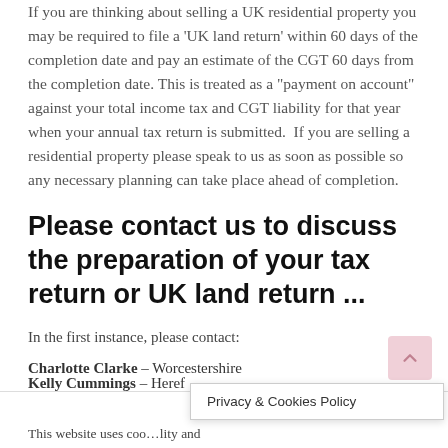If you are thinking about selling a UK residential property you may be required to file a 'UK land return' within 60 days of the completion date and pay an estimate of the CGT 60 days from the completion date. This is treated as a "payment on account" against your total income tax and CGT liability for that year when your annual tax return is submitted.  If you are selling a residential property please speak to us as soon as possible so any necessary planning can take place ahead of completion.
Please contact us to discuss the preparation of your tax return or UK land return ...
In the first instance, please contact:
Charlotte Clarke – Worcestershire
Kelly Cummings – Heref...
Privacy & Cookies Policy
This website uses coo...lity and